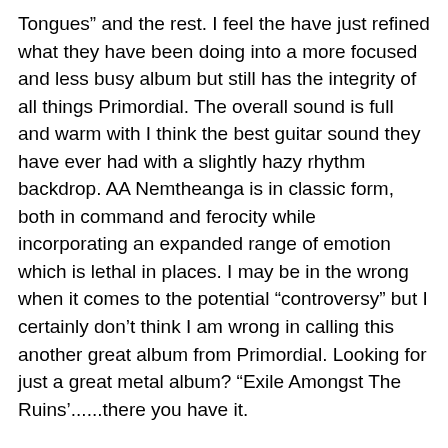Tongues” and the rest. I feel the have just refined what they have been doing into a more focused and less busy album but still has the integrity of all things Primordial. The overall sound is full and warm with I think the best guitar sound they have ever had with a slightly hazy rhythm backdrop. AA Nemtheanga is in classic form, both in command and ferocity while incorporating an expanded range of emotion which is lethal in places. I may be in the wrong when it comes to the potential “controversy” but I certainly don’t think I am wrong in calling this another great album from Primordial. Looking for just a great metal album? “Exile Amongst The Ruins’......there you have it.
Tracklist
Nail Their Tongues
To Hell or the Hangman
Where Lie the Gods